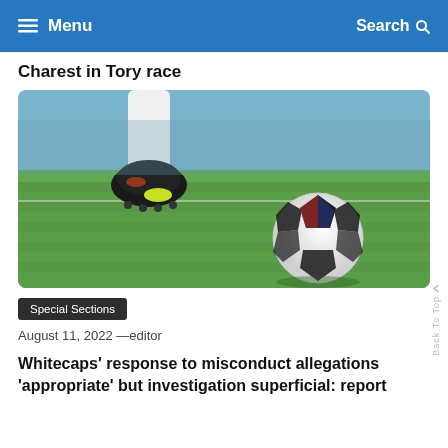Menu  Search
Charest in Tory race
[Figure (photo): Close-up photo of a soccer player's foot in a black and yellow cleat hovering above a soccer ball on a green grass field]
Special Sections
August 11, 2022 —editor
Whitecaps' response to misconduct allegations 'appropriate' but investigation superficial: report